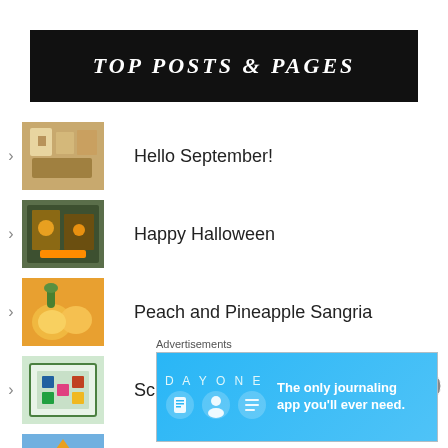TOP POSTS & PAGES
Hello September!
Happy Halloween
Peach and Pineapple Sangria
School time : Monopoly game
The Spook in the Stacks
Advertisements
[Figure (screenshot): Day One journaling app advertisement: 'The only journaling app you'll ever need.']